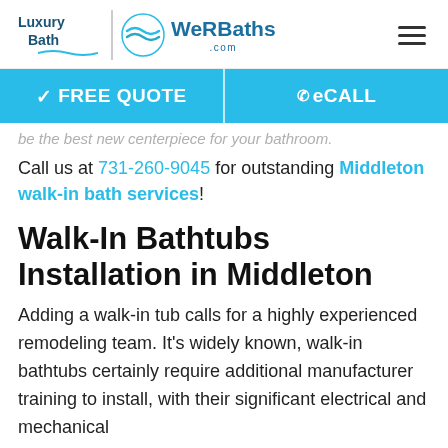[Figure (logo): Luxury Bath logo with wave icon and WeRBaths.com text, plus hamburger menu icon]
[Figure (infographic): Blue banner bar with FREE QUOTE on left and eCALL on right]
be the best new centerpiece for your bathroom.
Call us at 731-260-9045 for outstanding Middleton walk-in bath services!
Walk-In Bathtubs Installation in Middleton
Adding a walk-in tub calls for a highly experienced remodeling team. It’s widely known, walk-in bathtubs certainly require additional manufacturer training to install, with their significant electrical and mechanical